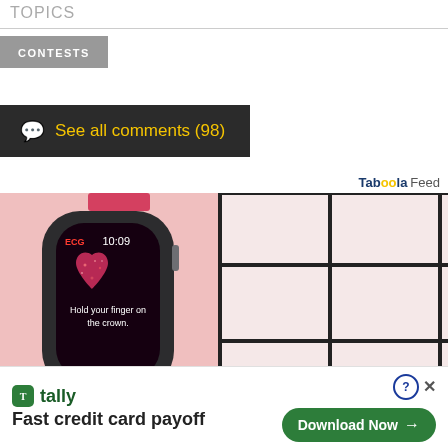TOPICS
CONTESTS
See all comments (98)
Taboola Feed
[Figure (photo): Apple Watch with ECG heart rate monitor screen showing a pink heart icon and text 'Hold your finger on the crown.' displayed on a pink/red band watch lying on white tile surface.]
[Figure (advertisement): Tally app advertisement banner with green logo, text 'tally Fast credit card payoff' on left and 'Download Now' green button on right, with help and close icons.]